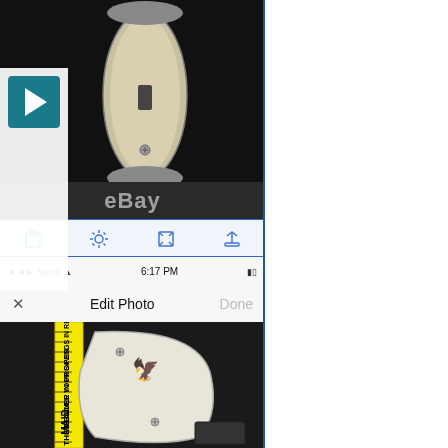[Figure (screenshot): Screenshot of eBay mobile app showing a folding knife with ivory/bone handle scales with an eagle engraving. The screenshot shows the iOS Edit Photo interface with Sprint carrier, 6:17 PM time, toolbar icons, and two photos: top view of closed knife and bottom view showing knife handle next to a ruler (MADE brand). The eBay watermark is visible. A play button overlay appears on the left side.]